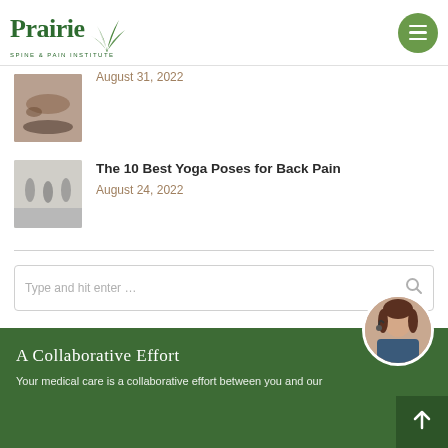Prairie Spine & Pain Institute
August 31, 2022
The 10 Best Yoga Poses for Back Pain
August 24, 2022
Type and hit enter…
A Collaborative Effort
Your medical care is a collaborative effort between you and our